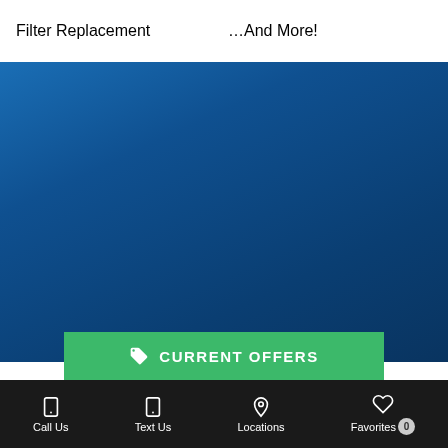Filter Replacement
…And More!
[Figure (other): Blue gradient background section]
CURRENT OFFERS
Call Us   Text Us   Locations   Favorites 0